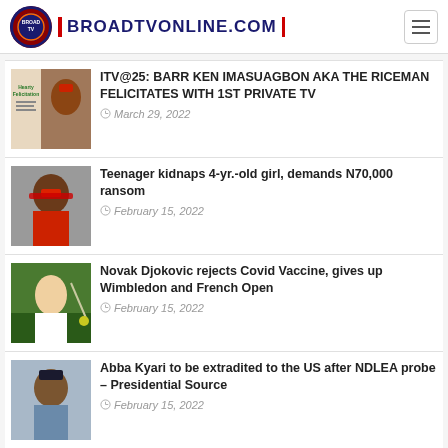BROADTVONLINE.COM
ITV@25: BARR KEN IMASUAGBON AKA THE RICEMAN FELICITATES WITH 1ST PRIVATE TV
March 29, 2022
Teenager kidnaps 4-yr.-old girl, demands N70,000 ransom
February 15, 2022
Novak Djokovic rejects Covid Vaccine, gives up Wimbledon and French Open
February 15, 2022
Abba Kyari to be extradited to the US after NDLEA probe – Presidential Source
February 15, 2022